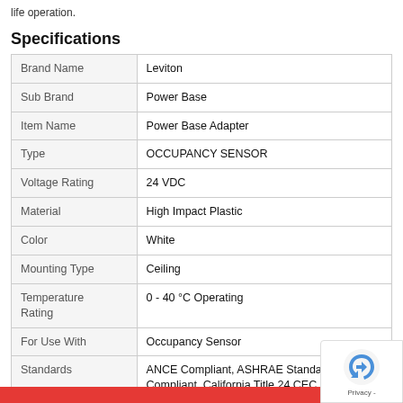life operation.
Specifications
| Brand Name | Leviton |
| Sub Brand | Power Base |
| Item Name | Power Base Adapter |
| Type | OCCUPANCY SENSOR |
| Voltage Rating | 24 VDC |
| Material | High Impact Plastic |
| Color | White |
| Mounting Type | Ceiling |
| Temperature Rating | 0 - 40 °C Operating |
| For Use With | Occupancy Sensor |
| Standards | ANCE Compliant, ASHRAE Standa… Compliant, California Title 24 CEC Listed |